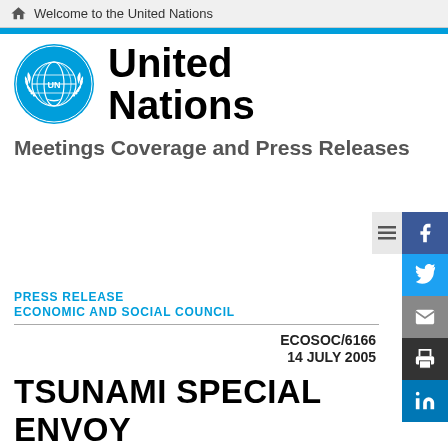Welcome to the United Nations
[Figure (logo): United Nations emblem logo in blue, circular globe with laurel wreath]
United Nations
Meetings Coverage and Press Releases
PRESS RELEASE
ECONOMIC AND SOCIAL COUNCIL
ECOSOC/6166
14 JULY 2005
TSUNAMI SPECIAL ENVOY